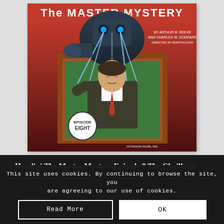[Figure (illustration): Vintage movie poster for 'The Master Mystery' Episode Eight, showing a large robotic/masked villain with ray beams from eyes looming over a man in a suit leaning through a window. Text reads 'The Master Mystery by Arthur B. Reeve and Charles W. Goddard, directed by Burton King. Episode Eight.' A circular badge at bottom left reads 'Episode Eight'.]
Houdini The Master Mystery Episode 8 The Chaillenge
£3.99 – £14...
This site uses cookies. By continuing to browse the site, you are agreeing to our use of cookies.